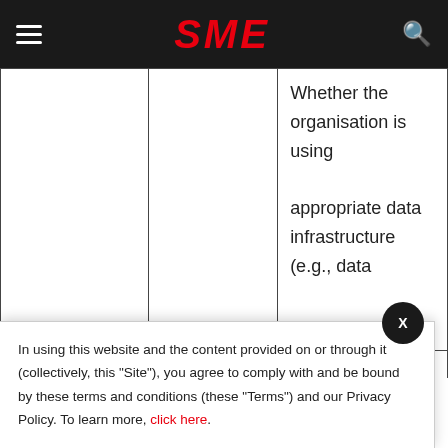SME
|  |  |  |
| --- | --- | --- |
|  |  | Whether the organisation is using appropriate data infrastructure (e.g., data |
| Infrastructure | Data... | data... |
In using this website and the content provided on or through it (collectively, this "Site"), you agree to comply with and be bound by these terms and conditions (these "Terms") and our Privacy Policy. To learn more, click here.